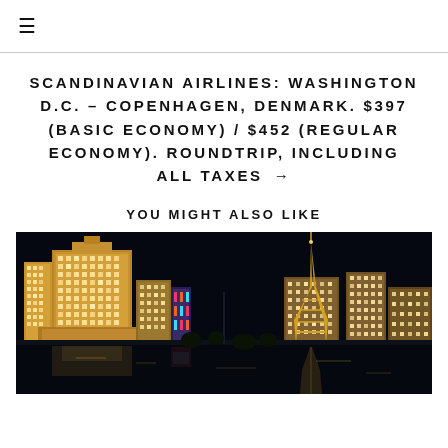≡
SCANDINAVIAN AIRLINES: WASHINGTON D.C. – COPENHAGEN, DENMARK. $397 (BASIC ECONOMY) / $452 (REGULAR ECONOMY). ROUNDTRIP, INCLUDING ALL TAXES →
YOU MIGHT ALSO LIKE
[Figure (photo): Night cityscape of Las Vegas Strip featuring illuminated casino buildings including a replica Eiffel Tower reflected in water]